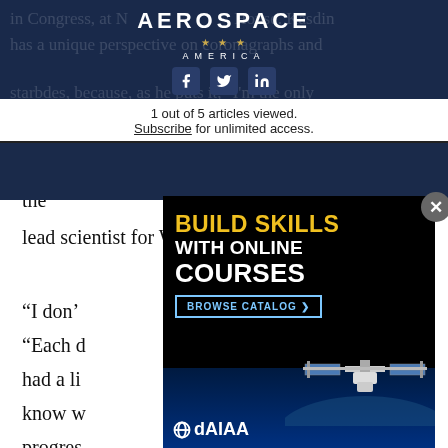AEROSPACE AMERICA
1 out of 5 articles viewed.
Subscribe for unlimited access.
contributor to the “Exo-S” report, Kasdin is also the lead scientist for WFIRST’s coronagraph.
“I don’t ... goes on. “Each c... have had a li... e know w... a lot of progres...
[Figure (screenshot): AIAA online courses advertisement overlay with black background showing 'BUILD SKILLS WITH ONLINE COURSES - BROWSE CATALOG' with image of International Space Station and AIAA logo. Has close (X) button in top right corner.]